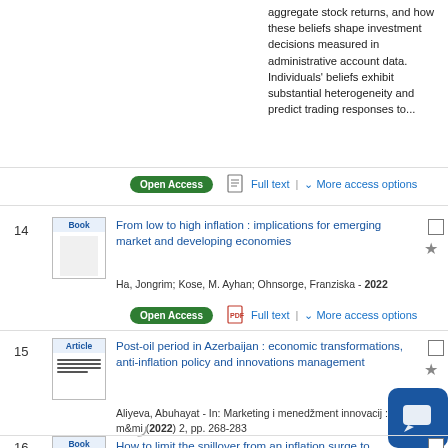aggregate stock returns, and how these beliefs shape investment decisions measured in administrative account data. Individuals' beliefs exhibit substantial heterogeneity and predict trading responses to...
Open Access  Full text  |  More access options
14  Book  From low to high inflation : implications for emerging market and developing economies  Ha, Jongrim; Kose, M. Ayhan; Ohnsorge, Franziska - 2022
Open Access  Full text  |  More access options
15  Article  Post-oil period in Azerbaijan : economic transformations, anti-inflation policy and innovations management  Aliyeva, Abuhayat - In: Marketing i menedžment innovacij : m&mi (2022) 2, pp. 268-283
16  Book  How to limit the spillover from an inflation surge to inflation expectations